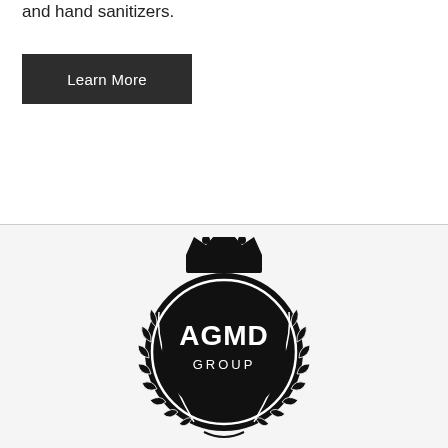and hand sanitizers.
Learn More
[Figure (logo): AGMD Group logo: circular black emblem with crown on top, laurel wreath branches on sides, and text 'AGMD GROUP' in white inside the circle.]